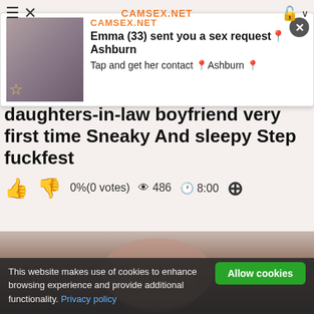CAMSEX.NET
[Figure (photo): Advertisement overlay: photo of a woman, headline 'Emma (33) sent you a sex request📍Ashburn', subtext 'Tap and get her contact 📍Ashburn 📍']
daughters-in-law boyfriend very first time Sneaky And sleepy Step fuckfest
👍 👎 0%(0 votes) 👁 486 🕐 8:00 ➕
[Figure (photo): Video thumbnail showing a woman lying down]
This website makes use of cookies to enhance browsing experience and provide additional functionality. Privacy policy
Allow cookies